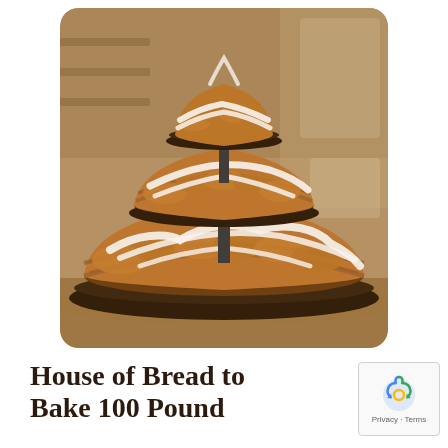[Figure (photo): A tiered display of large round bread loaves drizzled with white icing/frosting, stacked on cake stands in a bakery setting, resembling a wedding cake made of bread. Three tiers of golden-brown braided or swirled bread with white glaze, photographed in what appears to be a commercial bakery kitchen.]
House of Bread to Bake 100 Pound